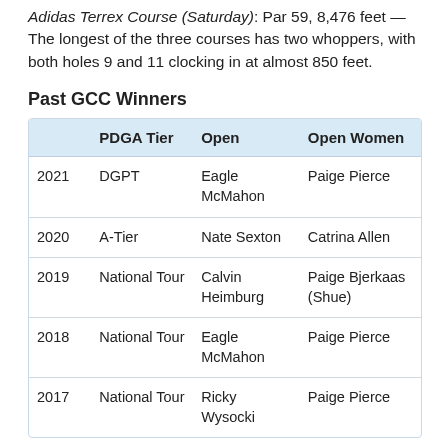Adidas Terrex Course (Saturday): Par 59, 8,476 feet — The longest of the three courses has two whoppers, with both holes 9 and 11 clocking in at almost 850 feet.
Past GCC Winners
|  | PDGA Tier | Open | Open Women |
| --- | --- | --- | --- |
| 2021 | DGPT | Eagle McMahon | Paige Pierce |
| 2020 | A-Tier | Nate Sexton | Catrina Allen |
| 2019 | National Tour | Calvin Heimburg | Paige Bjerkaas (Shue) |
| 2018 | National Tour | Eagle McMahon | Paige Pierce |
| 2017 | National Tour | Ricky Wysocki | Paige Pierce |